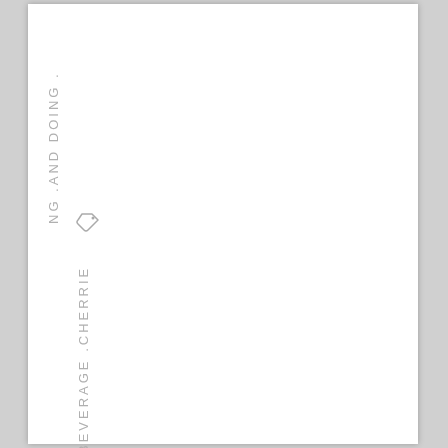NG .AND DOING .
[Figure (illustration): A small tag/label icon]
BEVERAGE .CHERRIE